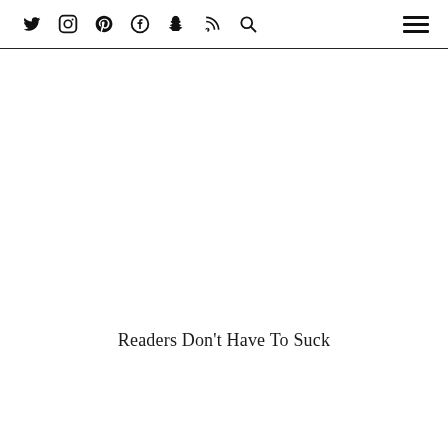Twitter Instagram Pinterest Facebook Snapchat RSS Search [hamburger menu]
Readers Don't Have To Suck